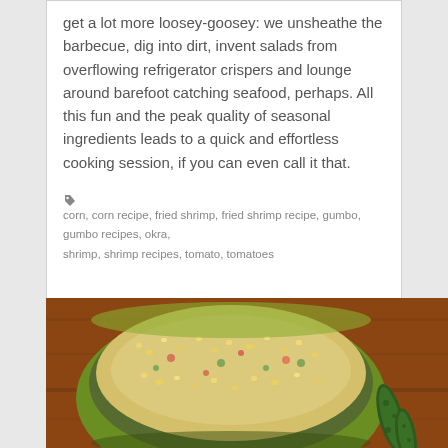get a lot more loosey-goosey: we unsheathe the barbecue, dig into dirt, invent salads from overflowing refrigerator crispers and lounge around barefoot catching seafood, perhaps. All this fun and the peak quality of seasonal ingredients leads to a quick and effortless cooking session, if you can even call it that.
corn, corn recipe, fried shrimp, fried shrimp recipe, gumbo, gumbo recipes, okra, shrimp, shrimp recipes, tomato, tomatoes
[Figure (photo): A green bowl filled with corn salad mixture with red and green peppers, with two dark green pickled cucumbers/jalapeños on a wooden surface beside the bowl.]